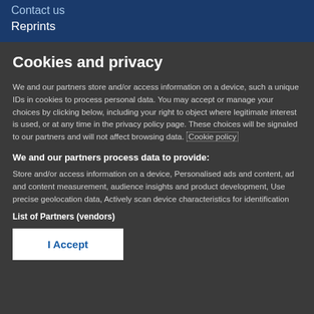Contact us
Reprints
Cookies and privacy
We and our partners store and/or access information on a device, such a unique IDs in cookies to process personal data. You may accept or manage your choices by clicking below, including your right to object where legitimate interest is used, or at any time in the privacy policy page. These choices will be signaled to our partners and will not affect browsing data. Cookie policy
We and our partners process data to provide:
Store and/or access information on a device, Personalised ads and content, ad and content measurement, audience insights and product development, Use precise geolocation data, Actively scan device characteristics for identification
List of Partners (vendors)
I Accept